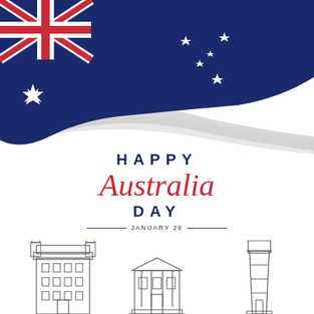[Figure (illustration): Australian flag rendered as a brush stroke / paint splash in blue, with Union Jack in top left canton, Commonwealth Star below it, and Southern Cross stars scattered across the blue field. Grey brush strokes trail to the lower right.]
HAPPY Australia Day
DAY
— JANUARY 26 —
[Figure (illustration): Three line-art Australian landmark buildings/structures at the bottom of the page: a multi-storey heritage building on the left, a classical government/civic building in the centre, and a lighthouse on the right.]